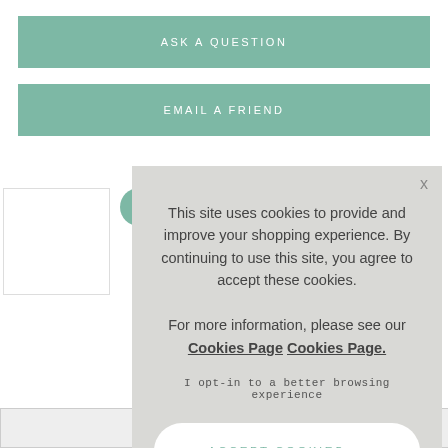ASK A QUESTION
EMAIL A FRIEND
SHARE
This site uses cookies to provide and improve your shopping experience. By continuing to use this site, you agree to accept these cookies. For more information, please see our Cookies Page Cookies Page.

I opt-in to a better browsing experience
ACCEPT COOKIES